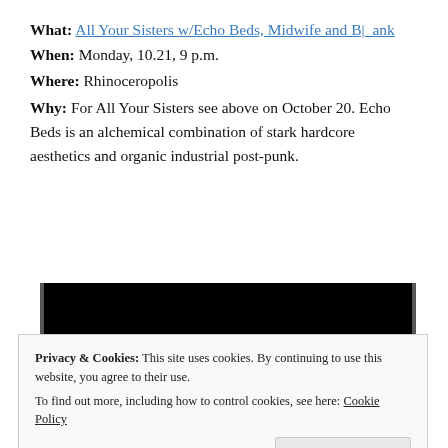What: All Your Sisters w/Echo Beds, Midwife and B|_ank
When: Monday, 10.21, 9 p.m.
Where: Rhinoceropolis
Why: For All Your Sisters see above on October 20. Echo Beds is an alchemical combination of stark hardcore aesthetics and organic industrial post-punk.
[Figure (screenshot): Black background screenshot showing text 'lately?' in white italic serif font and a red 'Start reading' button]
Privacy & Cookies: This site uses cookies. By continuing to use this website, you agree to their use.
To find out more, including how to control cookies, see here: Cookie Policy